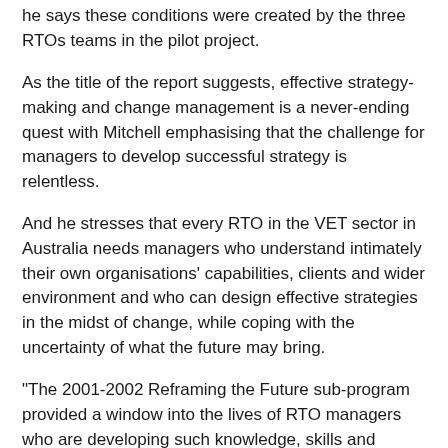he says these conditions were created by the three RTOs teams in the pilot project.
As the title of the report suggests, effective strategy-making and change management is a never-ending quest with Mitchell emphasising that the challenge for managers to develop successful strategy is relentless.
And he stresses that every RTO in the VET sector in Australia needs managers who understand intimately their own organisations' capabilities, clients and wider environment and who can design effective strategies in the midst of change, while coping with the uncertainty of what the future may bring.
"The 2001-2002 Reframing the Future sub-program provided a window into the lives of RTO managers who are developing such knowledge, skills and attitudes."